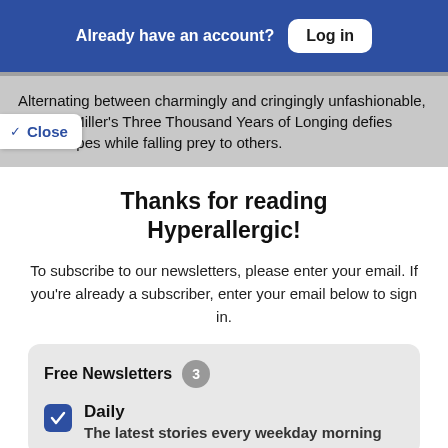Already have an account? Log in
Alternating between charmingly and cringingly unfashionable, George Miller's Three Thousand Years of Longing defies some tropes while falling prey to others.
Thanks for reading Hyperallergic!
To subscribe to our newsletters, please enter your email. If you're already a subscriber, enter your email below to sign in.
Free Newsletters 3
Daily — The latest stories every weekday morning